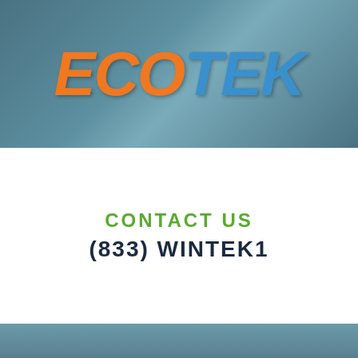[Figure (logo): ECOTEK logo on a teal/blue-grey background. 'ECO' in bold italic orange, 'TEK' in bold italic blue.]
CONTACT US
(833) WINTEK1